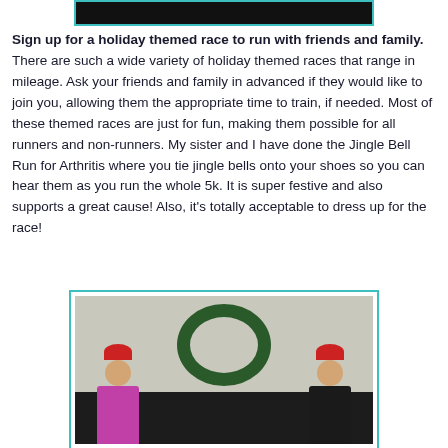[Figure (photo): Top partial photo — dark cropped image at the top of the page]
Sign up for a holiday themed race to run with friends and family. There are such a wide variety of holiday themed races that range in mileage. Ask your friends and family in advanced if they would like to join you, allowing them the appropriate time to train, if needed. Most of these themed races are just for fun, making them possible for all runners and non-runners. My sister and I have done the Jingle Bell Run for Arthritis where you tie jingle bells onto your shoes so you can hear them as you run the whole 5k. It is super festive and also supports a great cause! Also, it's totally acceptable to dress up for the race!
[Figure (photo): Two women wearing red hats standing in front of a Christmas wreath on a wall, dressed in holiday running attire]